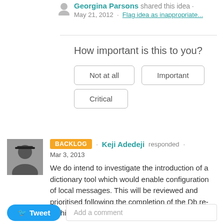Georgina Parsons shared this idea · May 21, 2012 · Flag idea as inappropriate...
How important is this to you?
Not at all   Important   Critical
BACKLOG · Keji Adedeji responded · Mar 3, 2013
We do intend to investigate the introduction of a dictionary tool which would enable configuration of local messages. This will be reviewed and prioritised following the completion of the Db re-architecture but is not a current priority
Tweet   Add a comment